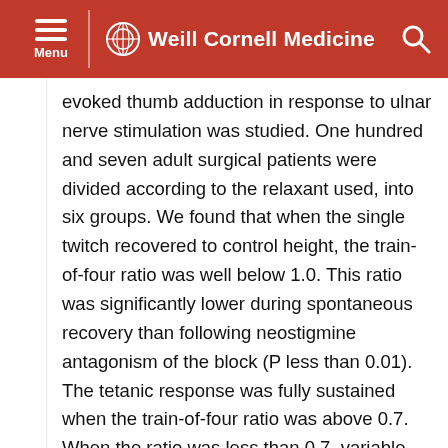Weill Cornell Medicine
evoked thumb adduction in response to ulnar nerve stimulation was studied. One hundred and seven adult surgical patients were divided according to the relaxant used, into six groups. We found that when the single twitch recovered to control height, the train-of-four ratio was well below 1.0. This ratio was significantly lower during spontaneous recovery than following neostigmine antagonism of the block (P less than 0.01). The tetanic response was fully sustained when the train-of-four ratio was above 0.7. When the ratio was less than 0.7, variable degrees of fade of tetanus were evident. Analysis of variance indicated similar train-of-four